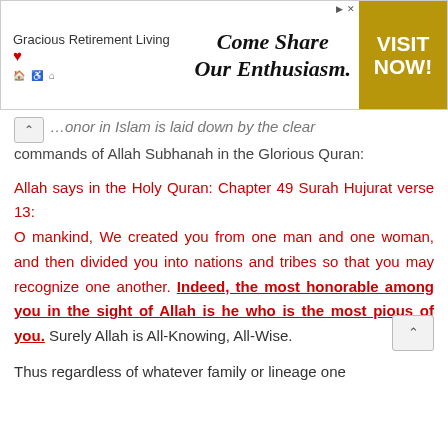[Figure (other): Advertisement banner for Gracious Retirement Living with tagline 'Come Share Our Enthusiasm.' and a gold 'VISIT NOW!' button on the right.]
…honor in Islam is laid down by the clear commands of Allah Subhanah in the Glorious Quran:
Allah says in the Holy Quran: Chapter 49 Surah Hujurat verse 13: O mankind, We created you from one man and one woman, and then divided you into nations and tribes so that you may recognize one another. Indeed, the most honorable among you in the sight of Allah is he who is the most pious of you. Surely Allah is All-Knowing, All-Wise.
Thus regardless of whatever family or lineage one